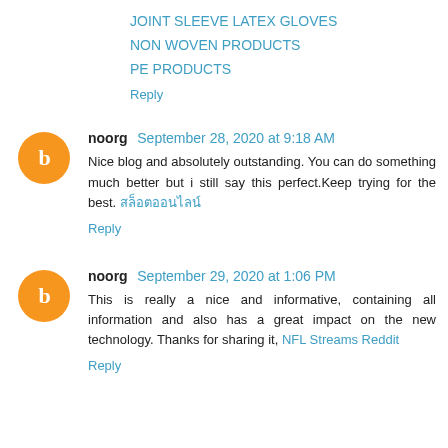JOINT SLEEVE LATEX GLOVES
NON WOVEN PRODUCTS
PE PRODUCTS
Reply
noorg  September 28, 2020 at 9:18 AM
Nice blog and absolutely outstanding. You can do something much better but i still say this perfect.Keep trying for the best. สล็อตออนไลน์
Reply
noorg  September 29, 2020 at 1:06 PM
This is really a nice and informative, containing all information and also has a great impact on the new technology. Thanks for sharing it, NFL Streams Reddit
Reply